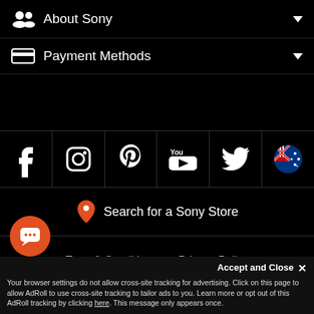About Sony
Payment Methods
[Figure (screenshot): Social media icon bar with Facebook, Instagram, Pinterest, YouTube, Twitter, and Australia flag icons]
Search for a Sony Store
Term & Conditions   Privacy Policy
© Sony Australia Limited. All Rights Reserved.
[Figure (logo): Orange chat bubble icon button]
Accept and Close ✕
Your browser settings do not allow cross-site tracking for advertising. Click on this page to allow AdRoll to use cross-site tracking to tailor ads to you. Learn more or opt out of this AdRoll tracking by clicking here. This message only appears once.